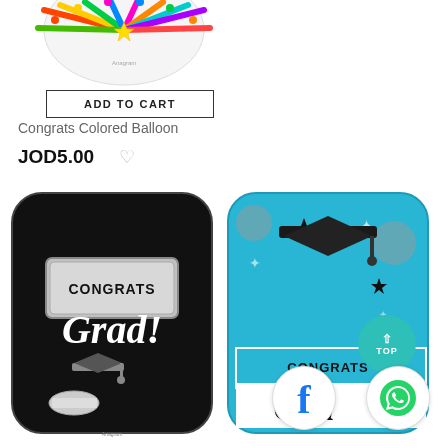[Figure (photo): Colorful round foil balloon with rainbow-colored spokes visible at top of page]
ADD TO CART
Congrats Colored Balloon
JOD5.00
[Figure (photo): Square black and white foil balloon with 'CONGRATS Grad!' text and graduation cap]
[Figure (photo): Square blue foil balloon with graduation cap and 'CONGRATS Grad' text, with TOP button and social media icons overlaid]